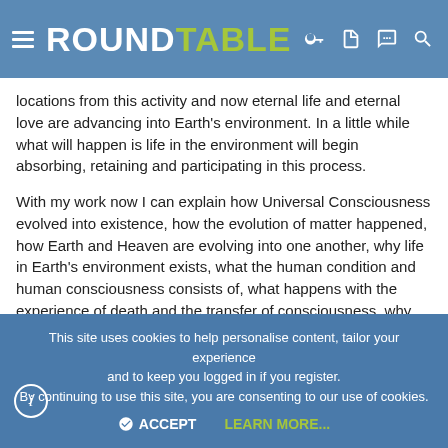RoundTable
locations from this activity and now eternal life and eternal love are advancing into Earth's environment. In a little while what will happen is life in the environment will begin absorbing, retaining and participating in this process.
With my work now I can explain how Universal Consciousness evolved into existence, how the evolution of matter happened, how Earth and Heaven are evolving into one another, why life in Earth's environment exists, what the human condition and human consciousness consists of, what happens with the experience of death and the transfer of consciousness, why and how subatomic particles spin and have a particular axis and what to expect from the process of the Shift in Consciousness and the advancement of DNA in living organisms here in Earth's environment. The speed of thought has to do with the evolution of consciousness and the evolution of
This site uses cookies to help personalise content, tailor your experience and to keep you logged in if you register.
By continuing to use this site, you are consenting to our use of cookies.
ACCEPT   LEARN MORE...